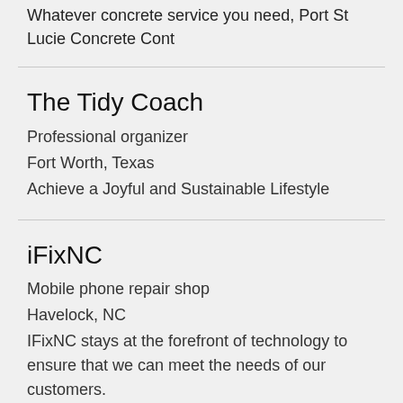Whatever concrete service you need, Port St Lucie Concrete Cont
The Tidy Coach
Professional organizer
Fort Worth, Texas
Achieve a Joyful and Sustainable Lifestyle
iFixNC
Mobile phone repair shop
Havelock, NC
IFixNC stays at the forefront of technology to ensure that we can meet the needs of our customers.